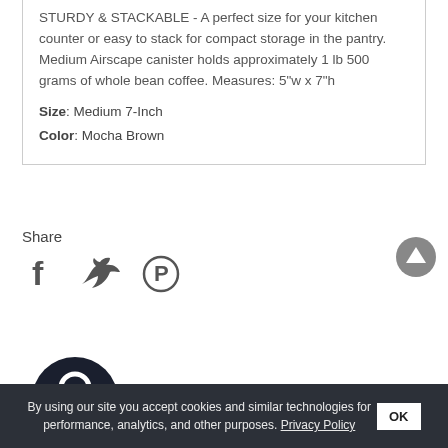STURDY & STACKABLE - A perfect size for your kitchen counter or easy to stack for compact storage in the pantry. Medium Airscape canister holds approximately 1 lb 500 grams of whole bean coffee. Measures: 5"w x 7"h
Size: Medium 7-Inch
Color: Mocha Brown
Share
[Figure (illustration): Social sharing icons: Facebook (f), Twitter (bird), Pinterest (P circle)]
[Figure (illustration): Scroll-up circular button with upward arrow]
[Figure (illustration): Dark circular avatar/logo shape at bottom]
By using our site you accept cookies and similar technologies for performance, analytics, and other purposes. Privacy Policy OK